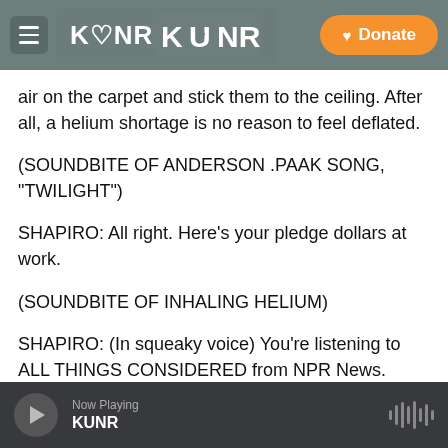KUNR | Donate
air on the carpet and stick them to the ceiling. After all, a helium shortage is no reason to feel deflated.
(SOUNDBITE OF ANDERSON .PAAK SONG, "TWILIGHT")
SHAPIRO: All right. Here's your pledge dollars at work.
(SOUNDBITE OF INHALING HELIUM)
SHAPIRO: (In squeaky voice) You're listening to ALL THINGS CONSIDERED from NPR News. Transcript provided by NPR. Copyright NPR.
Now Playing KUNR